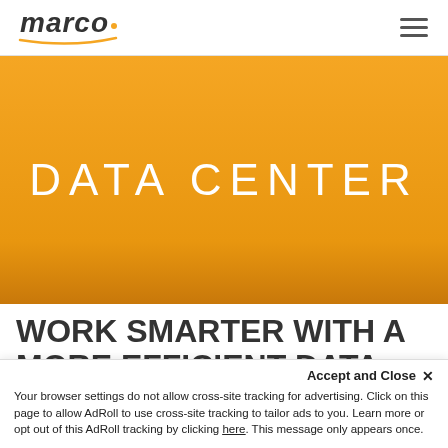marco [logo] [hamburger menu]
DATA CENTER
WORK SMARTER WITH A MORE EFFICIENT DATA CENTER
Accept and Close ×
Your browser settings do not allow cross-site tracking for advertising. Click on this page to allow AdRoll to use cross-site tracking to tailor ads to you. Learn more or opt out of this AdRoll tracking by clicking here. This message only appears once.